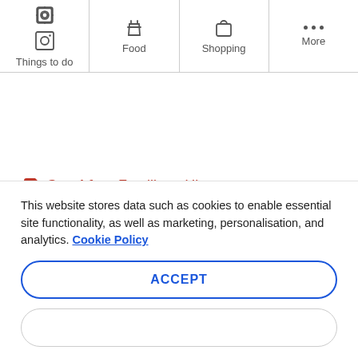Things to do | Food | Shopping | More
Good for: Families • History
The Singapore Science Centre was created as a fun way to educate children on the wonders of science,
This website stores data such as cookies to enable essential site functionality, as well as marketing, personalisation, and analytics. Cookie Policy
ACCEPT